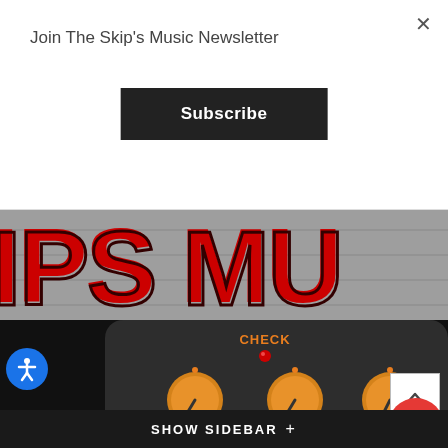Join The Skip's Music Newsletter
Subscribe
[Figure (photo): Skip's Music store sign with large red letters on a wooden background, partially visible reading 'IPS MU...']
[Figure (photo): Guitar effects pedal with dark body, orange knobs labeled LEVEL, COLOR MIX (L/H), and DIST, with a red CHECK indicator light on top]
SHOW SIDEBAR +